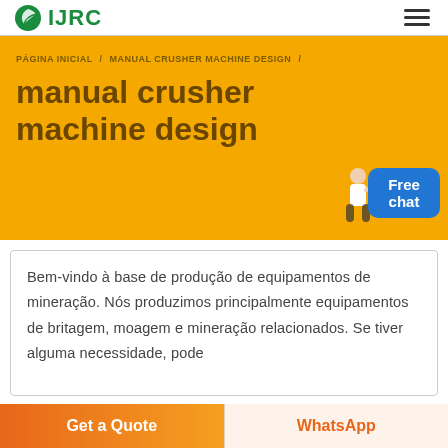IJRC
PÁGINA INICIAL / MANUAL CRUSHER MACHINE DESIGN /
manual crusher machine design
Bem-vindo à base de produção de equipamentos de mineração. Nós produzimos principalmente equipamentos de britagem, moagem e mineração relacionados. Se tiver alguma necessidade, pode
Get a Quote
WhatsApp